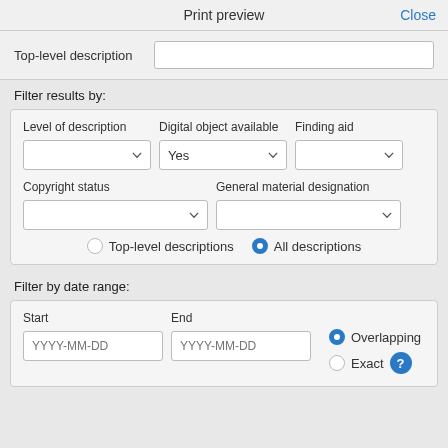Print preview
Close
Top-level description
Filter results by:
Level of description
Digital object available
Finding aid
Copyright status
General material designation
Top-level descriptions
All descriptions
Filter by date range:
Start
End
Overlapping
Exact